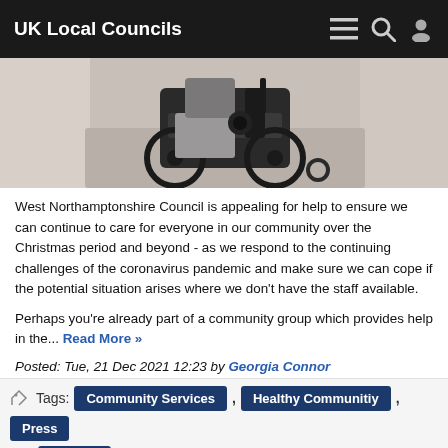UK Local Councils
[Figure (photo): Person in a wheelchair being assisted, indoor setting]
West Northamptonshire Council is appealing for help to ensure we can continue to care for everyone in our community over the Christmas period and beyond - as we respond to the continuing challenges of the coronavirus pandemic and make sure we can cope if the potential situation arises where we don't have the staff available.

Perhaps you're already part of a community group which provides help in the... Read More »
Posted: Tue, 21 Dec 2021 12:23 by Georgia Connor
Tags: Community Services , Healthy Communitiy , Press Release